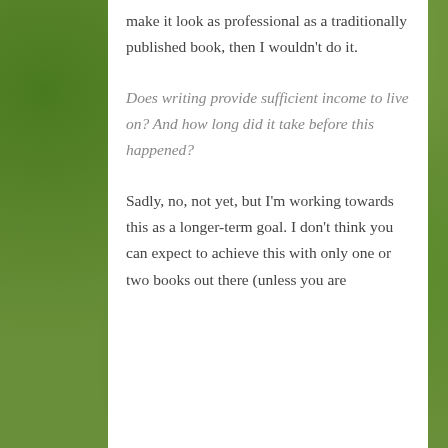make it look as professional as a traditionally published book, then I wouldn't do it.
Does writing provide sufficient income to live on? And how long did it take before this happened?
Sadly, no, not yet, but I'm working towards this as a longer-term goal. I don't think you can expect to achieve this with only one or two books out there (unless you are